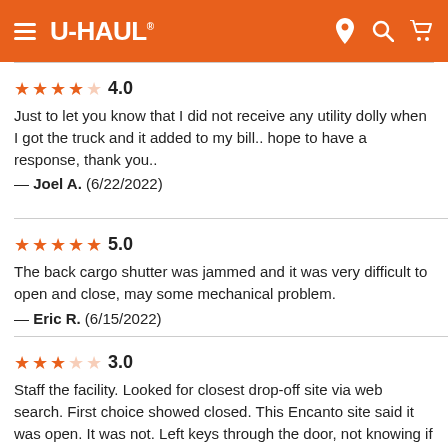U-HAUL navigation header
★★★★☆ 4.0
Just to let you know that I did not receive any utility dolly when I got the truck and it added to my bill.. hope to have a response, thank you..
— Joel A.  (6/22/2022)
★★★★★ 5.0
The back cargo shutter was jammed and it was very difficult to open and close, may some mechanical problem.
— Eric R.  (6/15/2022)
★★★☆☆ 3.0
Staff the facility. Looked for closest drop-off site via web search. First choice showed closed. This Encanto site said it was open. It was not. Left keys through the door, not knowing if I would be charged for a